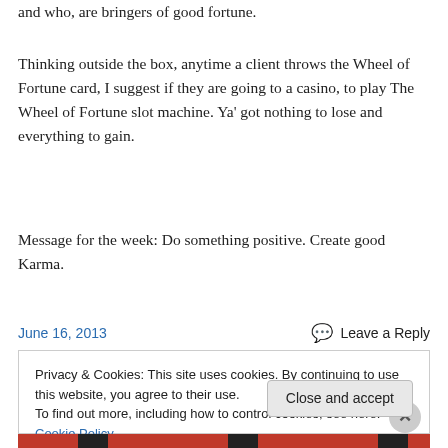and who, are bringers of good fortune.
Thinking outside the box, anytime a client throws the Wheel of Fortune card, I suggest if they are going to a casino, to play The Wheel of Fortune slot machine. Ya' got nothing to lose and everything to gain.
Message for the week: Do something positive. Create good Karma.
June 16, 2013
Leave a Reply
Privacy & Cookies: This site uses cookies. By continuing to use this website, you agree to their use.
To find out more, including how to control cookies, see here: Cookie Policy
Close and accept